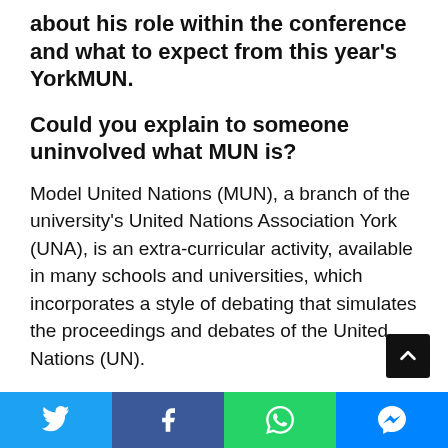about his role within the conference and what to expect from this year's YorkMUN.
Could you explain to someone uninvolved what MUN is?
Model United Nations (MUN), a branch of the university's United Nations Association York (UNA), is an extra-curricular activity, available in many schools and universities, which incorporates a style of debating that simulates the proceedings and debates of the United Nations (UN).
How does it differ from typical debating society?
Unlike in a typical debating society, in which each member represents a position (proposition or opposition), in MUN each delegate represents a